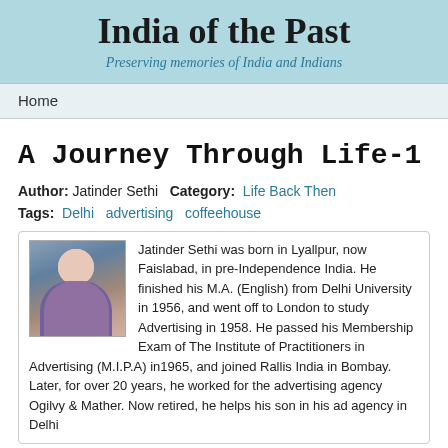India of the Past
Preserving memories of India and Indians
Home
A Journey Through Life-1
Author: Jatinder Sethi  Category: Life Back Then
Tags: Delhi  advertising  coffeehouse
Jatinder Sethi was born in Lyallpur, now Faislabad, in pre-Independence India. He finished his M.A. (English) from Delhi University in 1956, and went off to London to study Advertising in 1958. He passed his Membership Exam of The Institute of Practitioners in Advertising (M.I.P.A) in1965, and joined Rallis India in Bombay. Later, for over 20 years, he worked for the advertising agency Ogilvy &amp; Mather. Now retired, he helps his son in his ad agency in Delhi